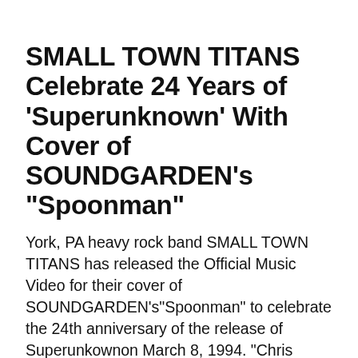SMALL TOWN TITANS Celebrate 24 Years of 'Superunknown' With Cover of SOUNDGARDEN's "Spoonman"
York, PA heavy rock band SMALL TOWN TITANS has released the Official Music Video for their cover of SOUNDGARDEN's"Spoonman" to celebrate the 24th anniversary of the release of Superunkownon March 8, 1994. "Chris Cornell has been a musical hero of mine since I was in high school and has been a major influence in the